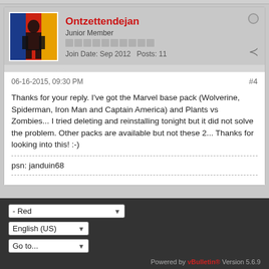Ontzettendejan
Junior Member
Join Date: Sep 2012   Posts: 11
06-16-2015, 09:30 PM  #4
Thanks for your reply. I've got the Marvel base pack (Wolverine, Spiderman, Iron Man and Captain America) and Plants vs Zombies... I tried deleting and reinstalling tonight but it did not solve the problem. Other packs are available but not these 2... Thanks for looking into this! :-)
psn: janduin68
- Red
English (US)
Go to...
Powered by vBulletin® Version 5.6.9